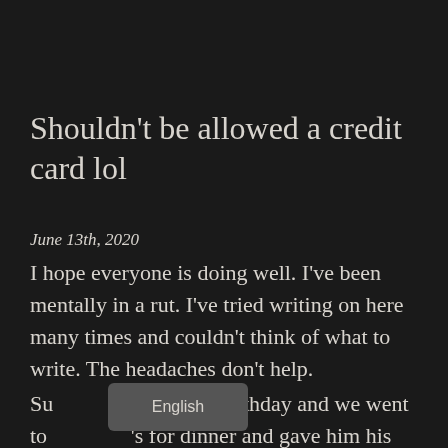Shouldn't be allowed a credit card lol
June 13th, 2020
I hope everyone is doing well. I've been mentally in a rut. I've tried writing on here many times and couldn't think of what to write. The headaches don't help.
Su[obscured] my dad's birthday and we went to [obscured]'s for dinner and gave him his
[Figure (other): A language selector badge/overlay showing the text 'English' on a dark grey rounded rectangle background]